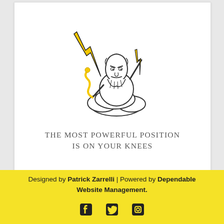[Figure (illustration): Illustration of Zeus or God figure seated on clouds, holding a lightning bolt in one hand and a golden staff/scepter in the other. Black and white line art with yellow/gold accents on the lightning bolt and scepter. Below the illustration is text reading 'THE MOST POWERFUL POSITION IS ON YOUR KNEES'.]
Designed by Patrick Zarrelli | Powered by Dependable Website Management.